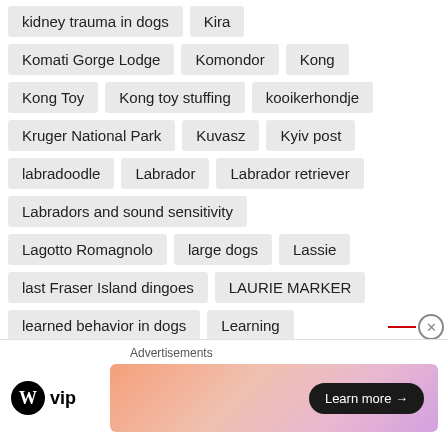kidney trauma in dogs
Kira
Komati Gorge Lodge
Komondor
Kong
Kong Toy
Kong toy stuffing
kooikerhondje
Kruger National Park
Kuvasz
Kyiv post
labradoodle
Labrador
Labrador retriever
Labradors and sound sensitivity
Lagotto Romagnolo
large dogs
Lassie
last Fraser Island dingoes
LAURIE MARKER
learned behavior in dogs
Learning
LEGAL AID FOR AGGRESSIVE DOGS
Advertisements
[Figure (logo): WordPress VIP logo with W icon and 'vip' text]
[Figure (infographic): Ad banner with gradient background and 'Learn more →' button]